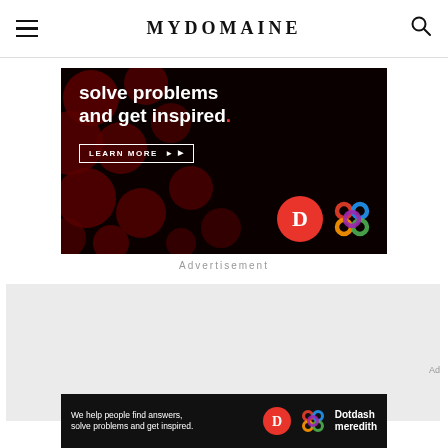MyDomaine navigation header with hamburger menu and search icon
[Figure (infographic): Advertisement banner with dark background and dark red circles pattern. White bold text reads 'solve problems and get inspired.' with a 'LEARN MORE' button. Logos for Dotdash (red D circle) and a multicolor knot logo are visible.]
Advertisement
[Figure (infographic): Gray placeholder content area (advertisement space)]
[Figure (infographic): Bottom advertisement banner: 'We help people find answers, solve problems and get inspired.' with Dotdash Meredith logo]